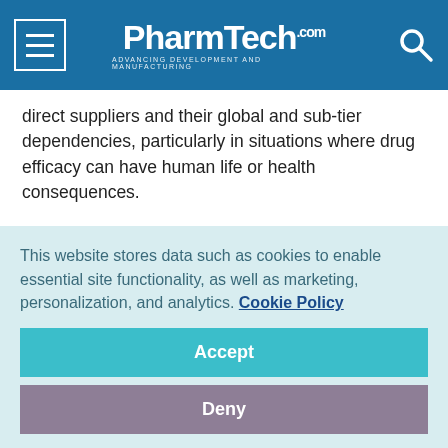PharmTech.com — Advancing Development and Manufacturing
direct suppliers and their global and sub-tier dependencies, particularly in situations where drug efficacy can have human life or health consequences.
Global complexity
Typical biopharma supply chains are increasingly global and complex, and the complexity continues to expand each year. A drug manufacturer typically purchases active ingredients for a single drug from more than 50 direct suppliers that might
This website stores data such as cookies to enable essential site functionality, as well as marketing, personalization, and analytics. Cookie Policy
Accept
Deny